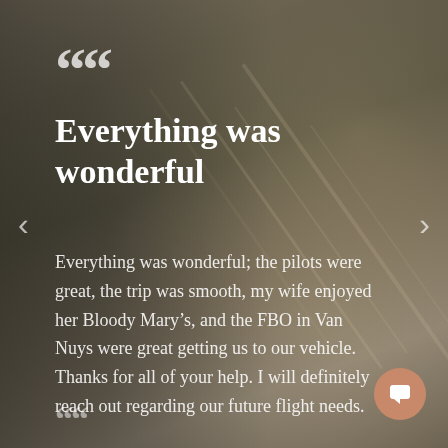[Figure (photo): Blurred background photo of aircraft propeller blades or wing with bokeh effect, warm gray-brown tones]
““
Everything was wonderful
Everything was wonderful; the pilots were great, the trip was smooth, my wife enjoyed her Bloody Mary’s, and the FBO in Van Nuys were great getting us to our vehicle. Thanks for all of your help. I will definitely reach out regarding our future flight needs.